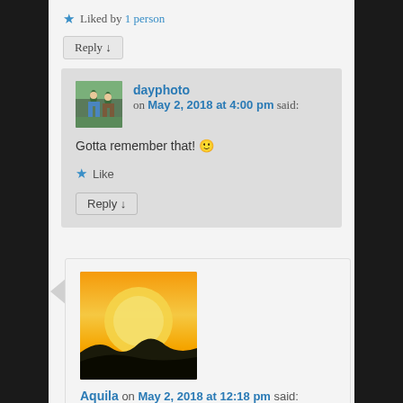★ Liked by 1 person
Reply ↓
[Figure (screenshot): Comment by dayphoto on May 2, 2018 at 4:00 pm with small avatar photo of people walking outdoors]
Gotta remember that! 🙂
★ Like
Reply ↓
[Figure (photo): Large sunset photo with orange sky and silhouetted hills]
Aquila on May 2, 2018 at 12:18 pm said: